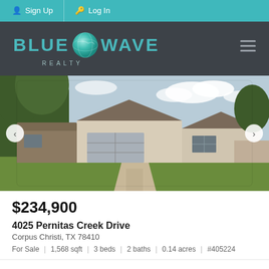Sign Up | Log In
[Figure (logo): Blue Wave Realty logo with teal globe icon on dark gray background]
[Figure (photo): Exterior photo of a single-story brick and stone ranch-style house with two-car garage, green lawn, and trees, with navigation arrows on sides]
$234,900
4025 Pernitas Creek Drive
Corpus Christi, TX 78410
For Sale  |  1,568 sqft  |  3 beds  |  2 baths  |  0.14 acres  |  #405224